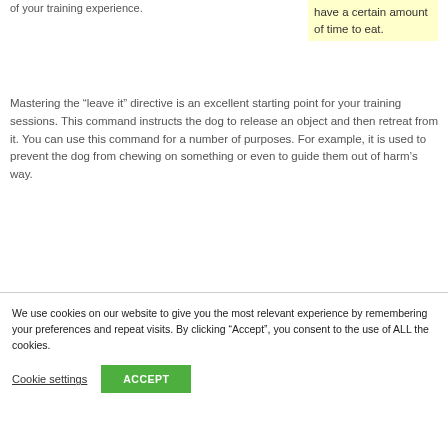of your training experience.
have a certain amount of time to eat.
Mastering the “leave it” directive is an excellent starting point for your training sessions. This command instructs the dog to release an object and then retreat from it. You can use this command for a number of purposes. For example, it is used to prevent the dog from chewing on something or even to guide them out of harm’s way.
We use cookies on our website to give you the most relevant experience by remembering your preferences and repeat visits. By clicking “Accept”, you consent to the use of ALL the cookies.
Cookie settings
ACCEPT